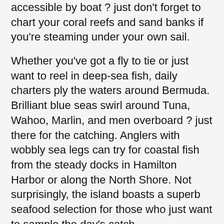accessible by boat ? just don't forget to chart your coral reefs and sand banks if you're steaming under your own sail.
Whether you've got a fly to tie or just want to reel in deep-sea fish, daily charters ply the waters around Bermuda. Brilliant blue seas swirl around Tuna, Wahoo, Marlin, and men overboard ? just there for the catching. Anglers with wobbly sea legs can try for coastal fish from the steady docks in Hamilton Harbor or along the North Shore. Not surprisingly, the island boasts a superb seafood selection for those who just want to sample the day's catch.
Wander the trails of South Shore Park, a preserve that offers a handful of beaches in shapes and sizes to suit most visitors. Take your pick, from tiny to pink, and when the swell is up, body surf for a break from